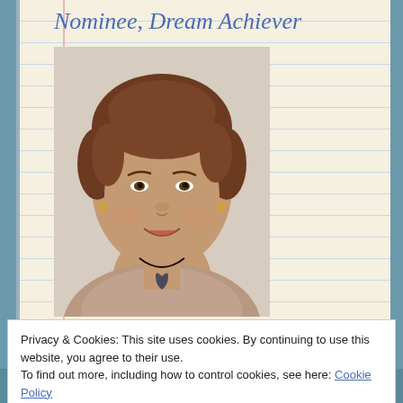Nominee, Dream Achiever
[Figure (photo): Portrait photo of a middle-aged woman with short brown hair, smiling, wearing a floral/lace blouse and a heart-shaped pendant necklace]
Privacy & Cookies: This site uses cookies. By continuing to use this website, you agree to their use.
To find out more, including how to control cookies, see here: Cookie Policy
Close and accept
Montana Son (The Calhouns of